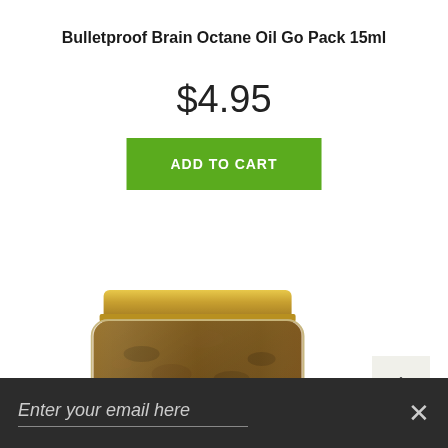Bulletproof Brain Octane Oil Go Pack 15ml
$4.95
ADD TO CART
[Figure (photo): A glass jar with a gold metal lid containing a brown grainy substance, labeled 'SALSA TARTUFATA' on a dark oval label with white text]
Enter your email here
X